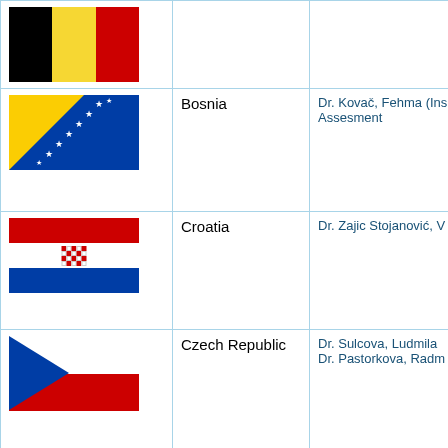| Flag | Country | Contact |
| --- | --- | --- |
| [Belgium flag] |  |  |
| [Bosnia flag] | Bosnia | Dr. Kovač, Fehma (Ins... Assesment |
| [Croatia flag] | Croatia | Dr. Zajic Stojanović, V... |
| [Czech Republic flag] | Czech Republic | Dr. Sulcova, Ludmila
Dr. Pastorkova, Radm... |
| [Estonia flag] | Estonia | Dr. Viigimae , Moonika |
| [Finland flag] | Finland | Dr. Leinonen, Janne (... |